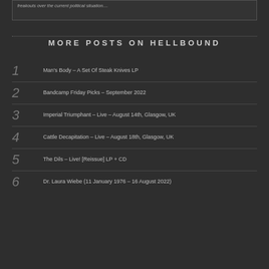freakouts over the current political situation....
MORE POSTS ON HELLBOUND
1 Man's Body – A Set Of Steak Knives LP
2 Bandcamp Friday Picks – September 2022
3 Imperial Triumphant – Live – August 14th, Glasgow, UK
4 Cattle Decapitation – Live – August 18th, Glasgow, UK
5 The Dils – Live! [Reissue] LP + CD
6 Dr. Laura Wiebe (11 January 1976 – 16 August 2022)